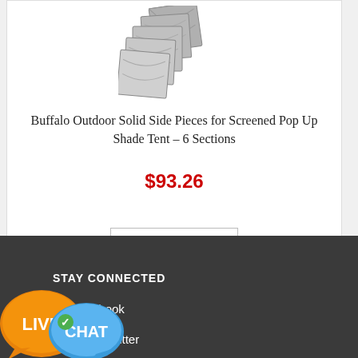[Figure (photo): Stack of grey/silver fabric side panels for a pop-up shade tent, shown in a product listing image]
Buffalo Outdoor Solid Side Pieces for Screened Pop Up Shade Tent – 6 Sections
$93.26
ADD TO CART
STAY CONNECTED
ebook
Twitter
[Figure (illustration): Live Chat button overlay with orange LIVE speech bubble and blue CHAT speech bubble]